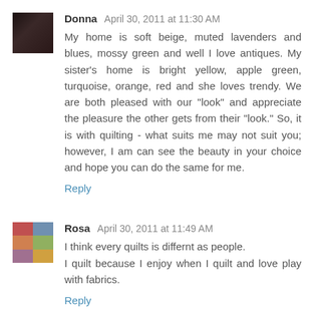Donna April 30, 2011 at 11:30 AM
My home is soft beige, muted lavenders and blues, mossy green and well I love antiques. My sister's home is bright yellow, apple green, turquoise, orange, red and she loves trendy. We are both pleased with our "look" and appreciate the pleasure the other gets from their "look." So, it is with quilting - what suits me may not suit you; however, I am can see the beauty in your choice and hope you can do the same for me.
Reply
Rosa April 30, 2011 at 11:49 AM
I think every quilts is differnt as people.
I quilt because I enjoy when I quilt and love play with fabrics.
Reply